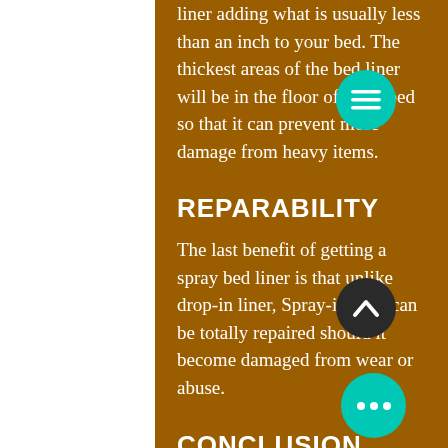liner adding what is usually less than an inch to your bed. The thickest areas of the bed liner will be in the floor of truck bed so that it can prevent more damage from heavy items.
REPARABILITY
The last benefit of getting a spray bed liner is that unlike drop-in liner, Spray-in liner can be totally repaired should it become damaged from wear or abuse.
CONCLUSION